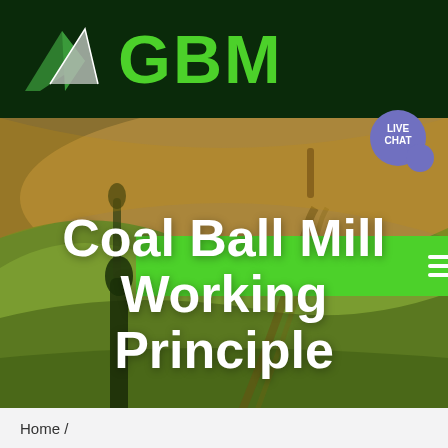[Figure (logo): GBM company logo with mountain/triangle graphic on dark green header background]
[Figure (screenshot): Green navigation bar with hamburger menu icon and live chat bubble (blue-purple circle) on the right]
[Figure (photo): Aerial/bird's eye view photo of rolling green and golden fields with two dark pillar/tree shapes, overlaid with large white bold text 'Coal Ball Mill Working Principle']
Coal Ball Mill Working Principle
Home /